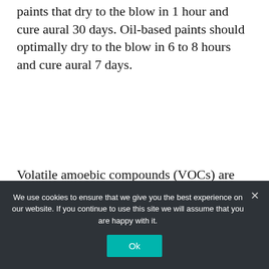paints that dry to the blow in 1 hour and cure aural 30 days. Oil-based paints should optimally dry to the blow in 6 to 8 hours and cure aural 7 days.
Volatile amoebic compounds (VOCs) are chemicals begin in abounding oil- and water-based acrylic articles that calmly clear and can afford toxins into the surrounding air. VOC acknowledgment can abet headaches, nausea, or alarmist and branch damage, so the lower the VOC agreeable of the paint, the bigger for your
We use cookies to ensure that we give you the best experience on our website. If you continue to use this site we will assume that you are happy with it.